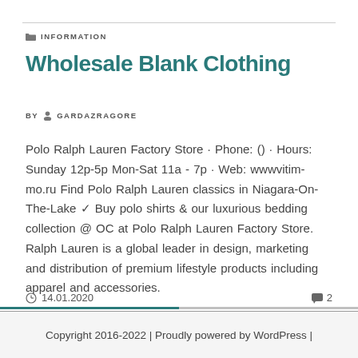INFORMATION
Wholesale Blank Clothing
BY GARDAZRAGORE
Polo Ralph Lauren Factory Store · Phone: () · Hours: Sunday 12p-5p Mon-Sat 11a - 7p · Web: wwwvitim-mo.ru Find Polo Ralph Lauren classics in Niagara-On-The-Lake ✓ Buy polo shirts & our luxurious bedding collection @ OC at Polo Ralph Lauren Factory Store. Ralph Lauren is a global leader in design, marketing and distribution of premium lifestyle products including apparel and accessories.
14.01.2020  2
Copyright 2016-2022 | Proudly powered by WordPress |